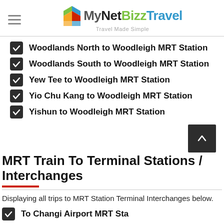MyNetBizz Travel – Travel Made Simple
Woodlands North to Woodleigh MRT Station
Woodlands South to Woodleigh MRT Station
Yew Tee to Woodleigh MRT Station
Yio Chu Kang to Woodleigh MRT Station
Yishun to Woodleigh MRT Station
MRT Train To Terminal Stations / Interchanges
Displaying all trips to MRT Station Terminal Interchanges below.
To Changi Airport MRT Station